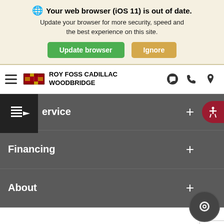Your web browser (iOS 11) is out of date. Update your browser for more security, speed and the best experience on this site.
Update browser | Ignore
ROY FOSS CADILLAC WOODBRIDGE
Service +
Financing +
About +
Copyright © 2022 Roy Foss Cadillac Woodbridge
Search | Saved | Share | Customer Service Specialist